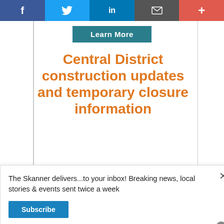[Figure (screenshot): Social media sharing bar with Facebook, Twitter, LinkedIn, email, and plus buttons]
[Figure (screenshot): Teal 'Learn More' button]
Central District construction updates and temporary closure information
[Figure (screenshot): Newsletter signup popup: 'The Skanner delivers...to your inbox! Breaking news, local stories & events sent twice a week' with Subscribe button and close X]
[Figure (infographic): Autobuses Lucano advertisement with logo, bus photo, boxes photo, SERVICIO DE PAQUETERIA text, and phone number 832-798-9608]